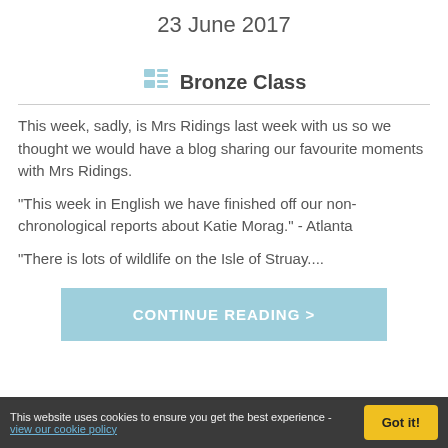23 June 2017
Bronze Class
This week, sadly, is Mrs Ridings last week with us so we thought we would have a blog sharing our favourite moments with Mrs Ridings.
"This week in English we have finished off our non-chronological reports about Katie Morag." - Atlanta

"There is lots of wildlife on the Isle of Struay....
CONTINUE READING >
This website uses cookies to ensure you get the best experience - view our cookie policy